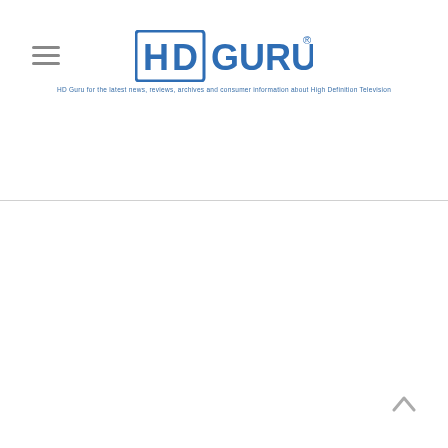[Figure (logo): HD Guru logo — blue text logo with HD in a bordered box and GURU text, with registered trademark symbol, and tagline beneath]
HD Guru for the latest news, reviews, archives and consumer information about High Definition Television